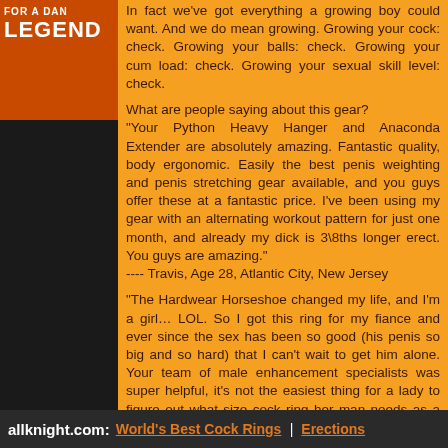In fact we've got everything a growing boy could want. And we do mean growing. Growing your cock: check. Growing your balls: check. Growing your cum load: check. Growing your sexual skill level: check.
What are people saying about this gear? "Your Python Heavy Hanger and Anaconda Extender are absolutely amazing. Fantastic quality, body ergonomic. Easily the best penis weighting and penis stretching gear available, and you guys offer these at a fantastic price. I've been using my gear with an alternating workout pattern for just one month, and already my dick is 3\8ths longer erect. You guys are amazing." ---- Travis, Age 28, Atlantic City, New Jersey
"The Hardwear Horseshoe changed my life, and I’m a girl… LOL. So I got this ring for my fiance and ever since the sex has been so good (his penis so big and so hard) that I can't wait to get him alone. Your team of male enhancement specialists was super helpful, it's not the easiest thing for a lady to figure out what size cock ring her man needs as a surprise, and not get him involved, but you guys helped me nail it. And it does everything you claim, from making him huge and marathon ready in bed to giving me multiple orgasms. We love you al-
allknight.com: World's Best Cock Rings | Erections